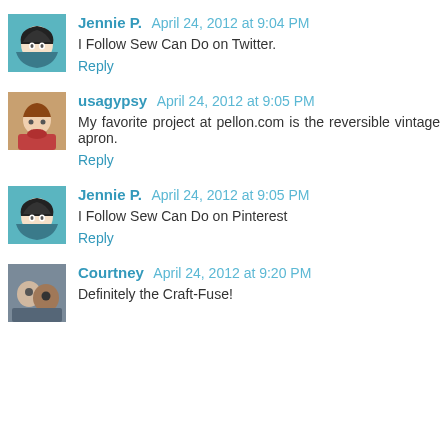Jennie P. April 24, 2012 at 9:04 PM
I Follow Sew Can Do on Twitter.
Reply
usagypsy April 24, 2012 at 9:05 PM
My favorite project at pellon.com is the reversible vintage apron.
Reply
Jennie P. April 24, 2012 at 9:05 PM
I Follow Sew Can Do on Pinterest
Reply
Courtney April 24, 2012 at 9:20 PM
Definitely the Craft-Fuse!